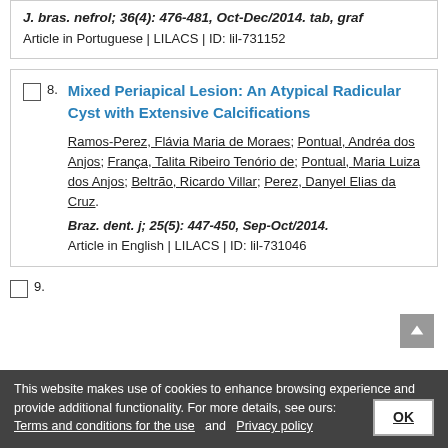J. bras. nefrol; 36(4): 476-481, Oct-Dec/2014. tab, graf
Article in Portuguese | LILACS | ID: lil-731152
8. Mixed Periapical Lesion: An Atypical Radicular Cyst with Extensive Calcifications
Ramos-Perez, Flávia Maria de Moraes; Pontual, Andréa dos Anjos; França, Talita Ribeiro Tenório de; Pontual, Maria Luiza dos Anjos; Beltrão, Ricardo Villar; Perez, Danyel Elias da Cruz.
Braz. dent. j; 25(5): 447-450, Sep-Oct/2014.
Article in English | LILACS | ID: lil-731046
9.
This website makes use of cookies to enhance browsing experience and provide additional functionality. For more details, see ours: Terms and conditions for the use and Privacy policy